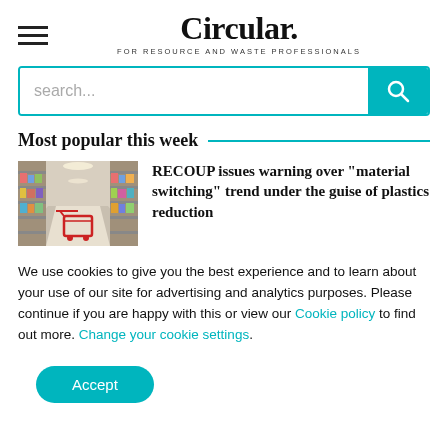Circular. FOR RESOURCE AND WASTE PROFESSIONALS
Most popular this week
[Figure (photo): Photo of a supermarket aisle with shopping cart in foreground, shelves stretching into distance]
RECOUP issues warning over “material switching” trend under the guise of plastics reduction
We use cookies to give you the best experience and to learn about your use of our site for advertising and analytics purposes. Please continue if you are happy with this or view our Cookie policy to find out more. Change your cookie settings.